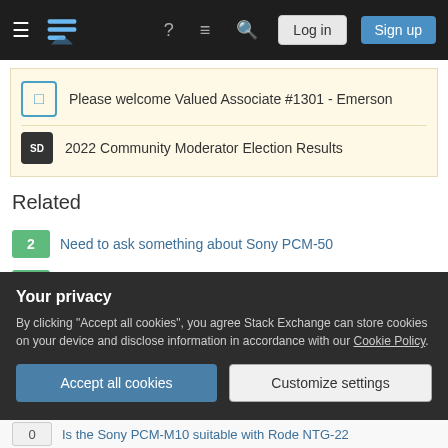[Figure (screenshot): Stack Exchange navigation bar with hamburger menu, logo, help, chat, search icons, Log in and Sign up buttons]
Please welcome Valued Associate #1301 - Emerson
2022 Community Moderator Election Results
Related
2 — Need to ask something about Sony PCM-50
4 — Alternative to standard Sony PCM D50 windsock?
1 — Sony PCM-M10 with a shotgun mic?
1 — External Mic use (eg. Rode NTG-2) with the Sony PCM-D50
Your privacy
By clicking "Accept all cookies", you agree Stack Exchange can store cookies on your device and disclose information in accordance with our Cookie Policy.
0 — Is the Sony PCM-M10 suitable with Rode NTG-22